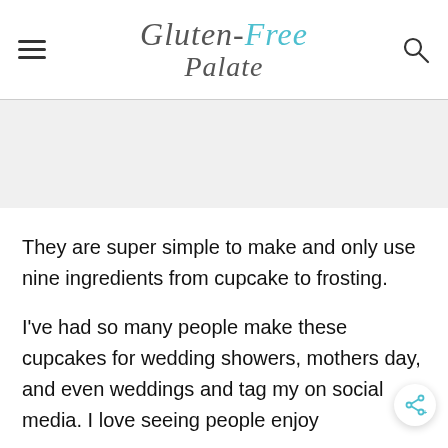Gluten-Free Palate
[Figure (other): Gray placeholder advertisement banner]
They are super simple to make and only use nine ingredients from cupcake to frosting.
I've had so many people make these cupcakes for wedding showers, mothers day, and even weddings and tag my on social media. I love seeing people enjoy